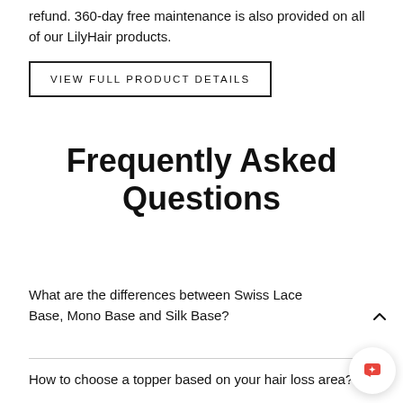refund. 360-day free maintenance is also provided on all of our LilyHair products.
VIEW FULL PRODUCT DETAILS
Frequently Asked Questions
What are the differences between Swiss Lace Base, Mono Base and Silk Base?
How to choose a topper based on your hair loss area?